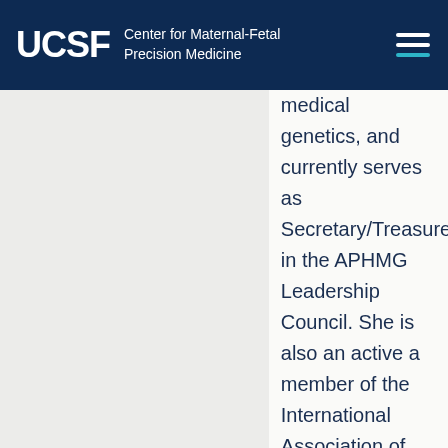UCSF Center for Maternal-Fetal Precision Medicine
medical genetics, and currently serves as Secretary/Treasurer in the APHMG Leadership Council. She is also an active a member of the International Association of Medical Science Educators (IAMSE), the American Society of Human Genetics (ASHG), the